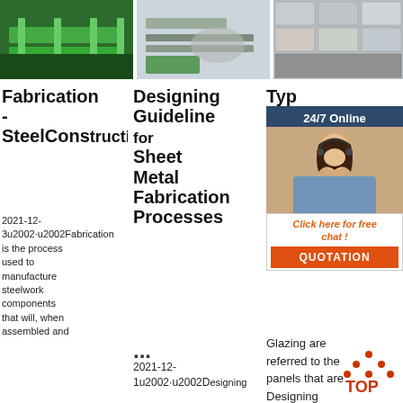[Figure (photo): Aerial view of industrial green factory floor]
[Figure (photo): Industrial metal fabrication machinery line]
[Figure (photo): Grid of metal parts and components]
Fabrication - SteelConstruction.info
2021-12-3u2002·u2002Fabrication is the process used to manufacture steelwork components that will, when assembled and
Designing Guideline for Sheet Metal Fabrication Processes
...
2021-12-1u2002·u2002Designing
Types Gla... Metal Details
Glazing are referred to the panels that are Designing
[Figure (screenshot): 24/7 online chat widget with customer service representative photo, click here for free chat and QUOTATION button]
[Figure (illustration): TOP scroll-to-top icon with orange dots]